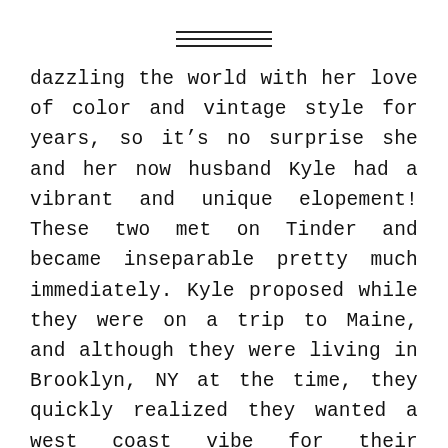[Figure (illustration): Decorative horizontal triple-line divider centered at top of page]
dazzling the world with her love of color and vintage style for years, so it’s no surprise she and her now husband Kyle had a vibrant and unique elopement! These two met on Tinder and became inseparable pretty much immediately. Kyle proposed while they were on a trip to Maine, and although they were living in Brooklyn, NY at the time, they quickly realized they wanted a west coast vibe for their wedding.
Ever the non-traditionalists, Sam and Kyle knew a big classic wedding just wasn’t their jam. They decided to do a private city hall